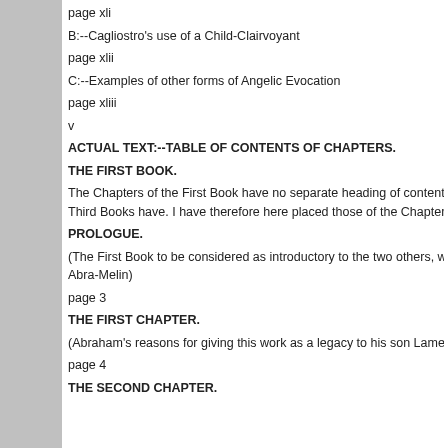page xli
B:--Cagliostro's use of a Child-Clairvoyant
page xlii
C:--Examples of other forms of Angelic Evocation
page xliii
v
ACTUAL TEXT:--TABLE OF CONTENTS OF CHAPTERS.
THE FIRST BOOK.
The Chapters of the First Book have no separate heading of contents given Third Books have. I have therefore here placed those of the Chapters of the
PROLOGUE.
(The First Book to be considered as introductory to the two others, which for Abra-Melin)
page 3
THE FIRST CHAPTER.
(Abraham's reasons for giving this work as a legacy to his son Lamech)
page 4
THE SECOND CHAPTER.